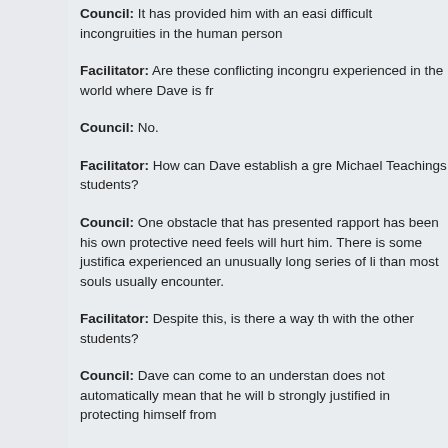Council: It has provided him with an easi… difficult incongruities in the human person…
Facilitator: Are these conflicting incongru… experienced in the world where Dave is fr…
Council: No.
Facilitator: How can Dave establish a gre… Michael Teachings students?
Council: One obstacle that has presented… rapport has been his own protective need… feels will hurt him. There is some justifica… experienced an unusually long series of li… than most souls usually encounter.
Facilitator: Despite this, is there a way th… with the other students?
Council: Dave can come to an understan… does not automatically mean that he will b… strongly justified in protecting himself from…
Facilitator: I understand. Would you com…